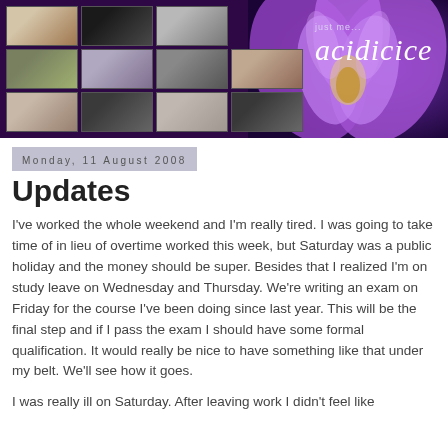[Figure (photo): Blog header banner with grid of personal photos on purple background with iris flower, blog title 'just me... acidicice']
Monday, 11 August 2008
Updates
I've worked the whole weekend and I'm really tired. I was going to take time of in lieu of overtime worked this week, but Saturday was a public holiday and the money should be super. Besides that I realized I'm on study leave on Wednesday and Thursday. We're writing an exam on Friday for the course I've been doing since last year. This will be the final step and if I pass the exam I should have some formal qualification. It would really be nice to have something like that under my belt. We'll see how it goes.
I was really ill on Saturday. After leaving work I didn't feel like